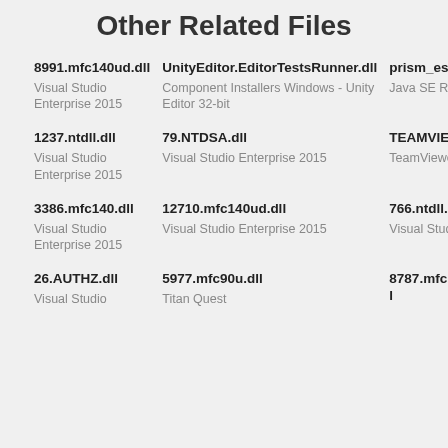Other Related Files
8991.mfc140ud.dll
Visual Studio Enterprise 2015
UnityEditor.EditorTestsRunner.dll
Component Installers Windows - Unity Editor 32-bit
prism_es2.dll
Java SE Runtime Environment
1237.ntdll.dll
Visual Studio Enterprise 2015
79.NTDSA.dll
Visual Studio Enterprise 2015
TEAMVIEWER_RESOURCE_RO.DLL
TeamViewer 11
3386.mfc140.dll
Visual Studio Enterprise 2015
12710.mfc140ud.dll
Visual Studio Enterprise 2015
766.ntdll.dll
Visual Studio Enterprise 2015
26.AUTHZ.dll
Visual Studio
5977.mfc90u.dll
Titan Quest
8787.mfc140d.dll